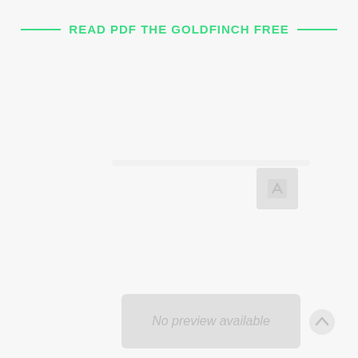READ PDF THE GOLDFINCH FREE
[Figure (other): A grayed-out document preview area with an edit/link icon in the top-right corner, and a 'No preview available' banner overlay in the center-lower portion of the preview area.]
No preview available